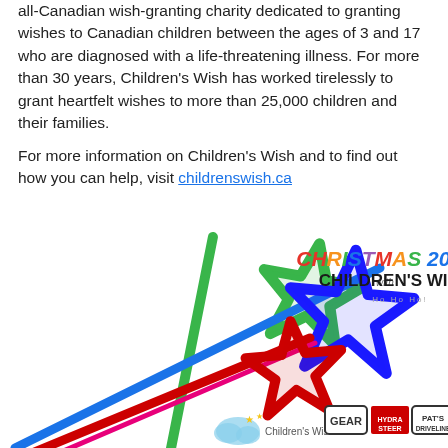all-Canadian wish-granting charity dedicated to granting wishes to Canadian children between the ages of 3 and 17 who are diagnosed with a life-threatening illness. For more than 30 years, Children's Wish has worked tirelessly to grant heartfelt wishes to more than 25,000 children and their families.
For more information on Children's Wish and to find out how you can help, visit childrenswish.ca
[Figure (illustration): Promotional image for Christmas 2018 with Children's Wish campaign. Shows colorful star-shaped wands (green, blue, red) with the text 'CHRISTMAS 2018 with CHILDREN'S WISH Ho Ho Ho!' on the right. Bottom shows logos: Children's Wish, Gear, Hydra Steer, Pat's Driveline.]